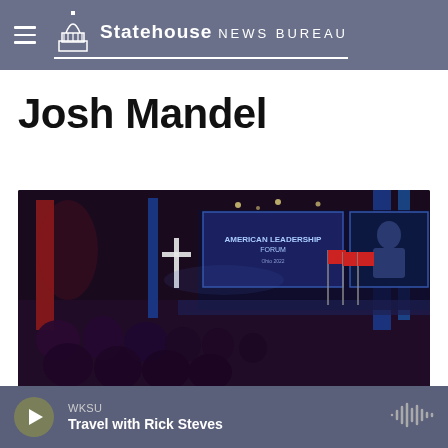Statehouse News Bureau
Josh Mandel
[Figure (photo): Wide-angle photo of a large indoor auditorium event. A stage with large screens displaying 'American Leadership Forum' is visible at the far end. American flags line the stage. A Christian cross is visible on the left side. The audience is seen from behind in silhouette. Stage lighting in red and blue illuminates the hall.]
WKSU Travel with Rick Steves